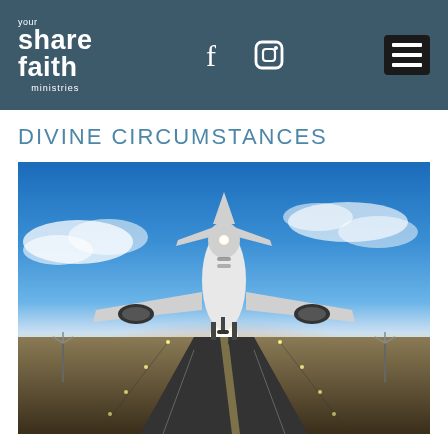share your faith ministries — navigation header with Facebook, Instagram icons and hamburger menu
DIVINE CIRCUMSTANCES
[Figure (photo): An airplane taking off from a runway at sunset/sunrise, viewed from the front low angle. The sky is vivid blue with clouds and a bright golden sun on the horizon. The runway extends into the distance with runway lights on either side. The airplane is white with landing gear still down.]